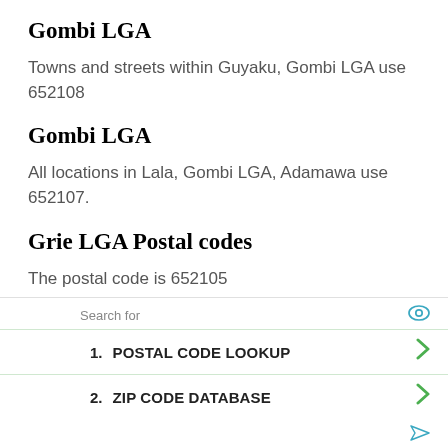Gombi LGA
Towns and streets within Guyaku, Gombi LGA use 652108
Gombi LGA
All locations in Lala, Gombi LGA, Adamawa use 652107.
Grie LGA Postal codes
The postal code is 652105
Search for
1.  POSTAL CODE LOOKUP
2.  ZIP CODE DATABASE